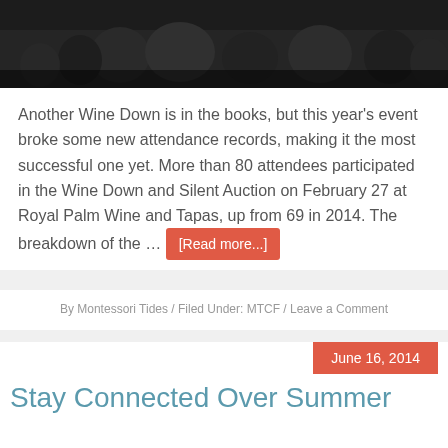[Figure (photo): A dark photo showing a crowd of people at an event, silhouetted figures visible from above]
Another Wine Down is in the books, but this year’s event broke some new attendance records, making it the most successful one yet. More than 80 attendees participated in the Wine Down and Silent Auction on February 27 at Royal Palm Wine and Tapas, up from 69 in 2014. The breakdown of the … [Read more...]
By Montessori Tides / Filed Under: MTCF / Leave a Comment
June 16, 2014
Stay Connected Over Summer
[Figure (photo): A dark blue banner image with sparkles/light effects and the text 'Summer Meetup!' in white italic font]
Join